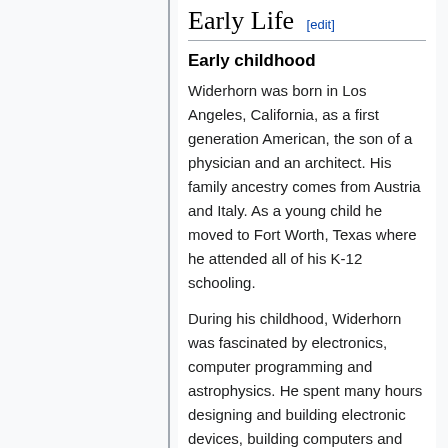Early Life [edit]
Early childhood
Widerhorn was born in Los Angeles, California, as a first generation American, the son of a physician and an architect. His family ancestry comes from Austria and Italy. As a young child he moved to Fort Worth, Texas where he attended all of his K-12 schooling.
During his childhood, Widerhorn was fascinated by electronics, computer programming and astrophysics. He spent many hours designing and building electronic devices, building computers and competing in mathematics and programming